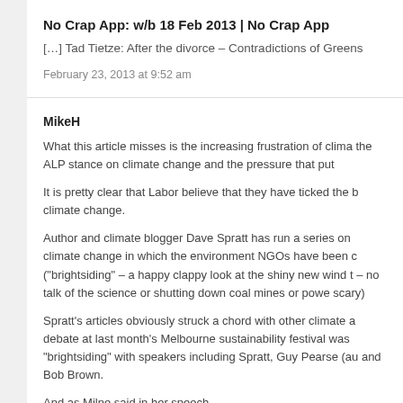No Crap App: w/b 18 Feb 2013 | No Crap App
[…] Tad Tietze: After the divorce – Contradictions of Greens
February 23, 2013 at 9:52 am
MikeH
What this article misses is the increasing frustration of clima the ALP stance on climate change and the pressure that put
It is pretty clear that Labor believe that they have ticked the b climate change.
Author and climate blogger Dave Spratt has run a series on climate change in which the environment NGOs have been c ("brightsiding" – a happy clappy look at the shiny new wind t – no talk of the science or shutting down coal mines or powe scary)
Spratt's articles obviously struck a chord with other climate a debate at last month's Melbourne sustainability festival was "brightsiding" with speakers including Spratt, Guy Pearse (au and Bob Brown.
And as Milne said in her speech
aLabor cannot have it both ways. They cannot argue that the science seriously and at the same time subsidise massive